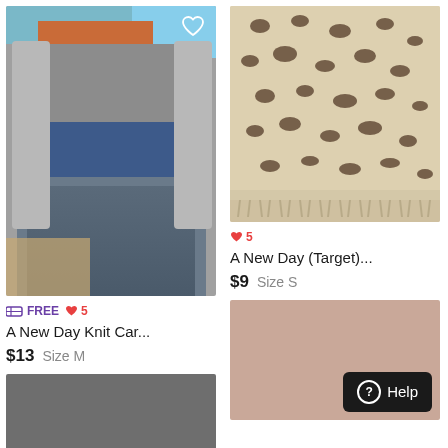[Figure (photo): Person wearing a grey knit cardigan over an orange crop top with blue jeans, standing indoors. Heart/favorite icon in top right corner.]
≡ FREE ♥ 5
A New Day Knit Car...
$13  Size M
[Figure (photo): Partial grey/dark rectangle (bottom of page, left column)]
[Figure (photo): Leopard print fabric/cardigan, beige with dark spots and fringe hem]
♥ 5
A New Day (Target)...
$9  Size S
[Figure (photo): Solid mauve/dusty pink colored garment, bottom of page right column. Help button overlay.]